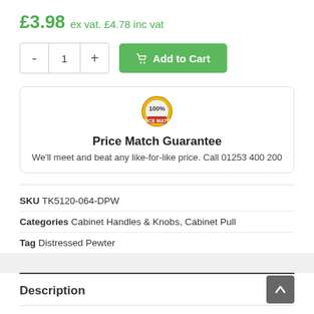£3.98 ex vat. £4.78 inc vat
[Figure (other): Quantity selector with minus and plus buttons showing 1, and a green Add to Cart button with shopping cart icon]
[Figure (infographic): Price Match Guarantee box with gold badge icon. Text: We'll meet and beat any like-for-like price. Call 01253 400 200]
SKU TK5120-064-DPW
Categories Cabinet Handles & Knobs, Cabinet Pull
Tag Distressed Pewter
Description
Reviews (0)